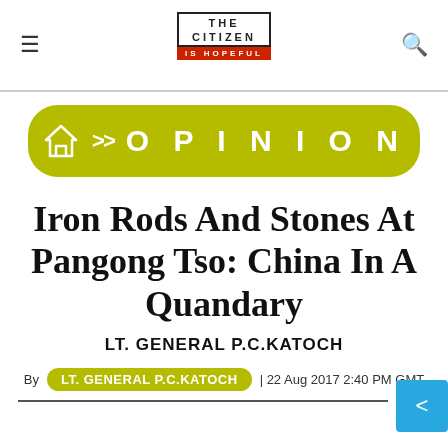The Citizen — Is Hopeful (logo)
[Figure (infographic): Yellow-green breadcrumb bar with home icon, >> chevrons, and OPINION text]
Iron Rods And Stones At Pangong Tso: China In A Quandary
LT. GENERAL P.C.KATOCH
By LT. GENERAL P.C.KATOCH | 22 Aug 2017 2:40 PM GMT